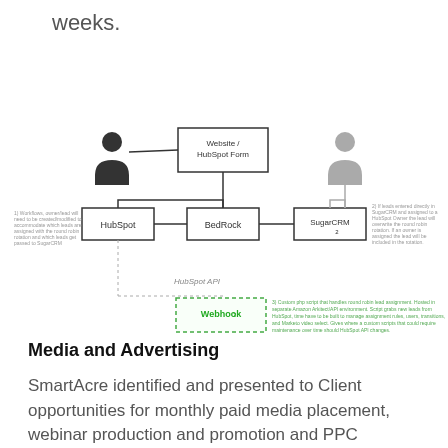weeks.
[Figure (flowchart): Flowchart showing lead routing between HubSpot, BedRock, and SugarCRM. A person icon and Website/HubSpot Form box at top feed into HubSpot and BedRock boxes. BedRock connects to SugarCRM. A second person icon connects to SugarCRM via gray arrow. HubSpot connects down via HubSpot API to a dashed Webhook box. Annotations in gray and green text describe the workflow logic.]
Media and Advertising
SmartAcre identified and presented to Client opportunities for monthly paid media placement, webinar production and promotion and PPC